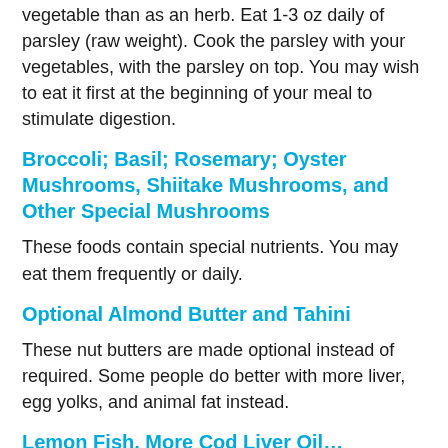vegetable than as an herb. Eat 1-3 oz daily of parsley (raw weight). Cook the parsley with your vegetables, with the parsley on top. You may wish to eat it first at the beginning of your meal to stimulate digestion.
Broccoli; Basil; Rosemary; Oyster Mushrooms, Shiitake Mushrooms, and Other Special Mushrooms
These foods contain special nutrients. You may eat them frequently or daily.
Optional Almond Butter and Tahini
These nut butters are made optional instead of required. Some people do better with more liver, egg yolks, and animal fat instead.
Lemon Fish, More Cod Liver Oil…